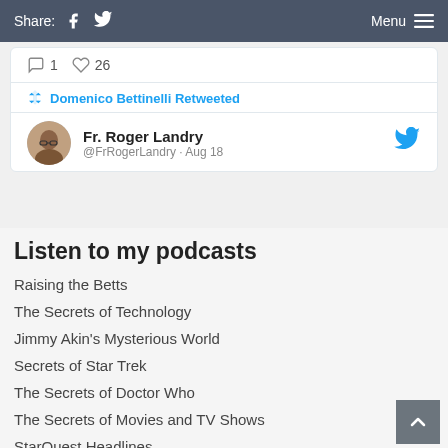Share: [Facebook] [Twitter]   Menu
[Figure (screenshot): Tweet card showing reply count 1, heart count 26, a retweet by Domenico Bettinelli, and a tweet from Fr. Roger Landry (@FrRogerLandry · Aug 18)]
Listen to my podcasts
Raising the Betts
The Secrets of Technology
Jimmy Akin's Mysterious World
Secrets of Star Trek
The Secrets of Doctor Who
The Secrets of Movies and TV Shows
StarQuest Headlines